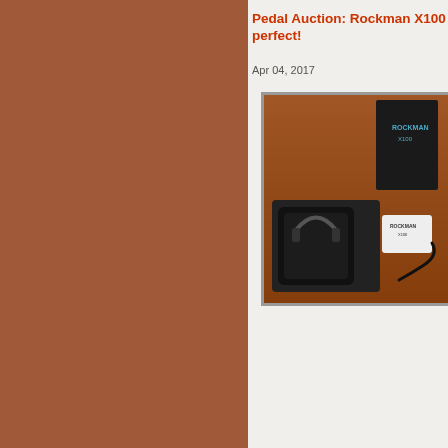Pedal Auction: Rockman X100 - perfect!
Apr 04, 2017
[Figure (photo): Photo of Rockman X100 headphone amplifier with original black box, device in foam tray, power adapter and cable on a wooden surface]
Pedal Auction IN THE BOX condition (pictures) Headphone amp powered Headphone (Digital) The cha reproduc Keyboard hang th by - the conditio
Curre
Curre
Locat
End T
View: